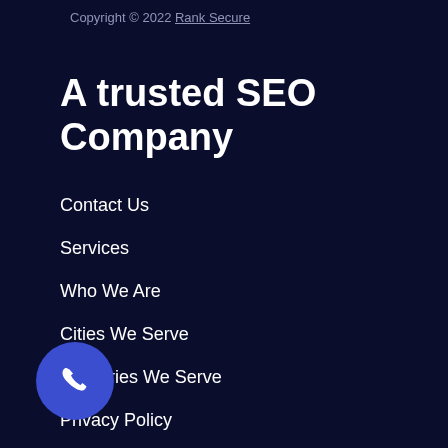Copyright © 2022 Rank Secure
A trusted SEO Company
Contact Us
Services
Who We Are
Cities We Serve
Industries We Serve
Privacy Policy
[Figure (illustration): Blue circular phone call button with white phone handset icon]